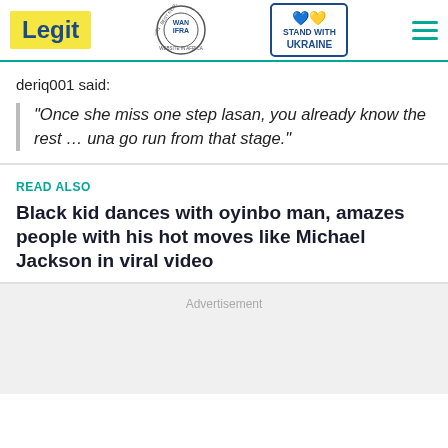Legit | WAN IFRA 2021 Best News Website in Africa | Stand with Ukraine
deriq001 said:
"Once she miss one step lasan, you already know the rest … una go run from that stage."
READ ALSO
Black kid dances with oyinbo man, amazes people with his hot moves like Michael Jackson in viral video
Advertisement